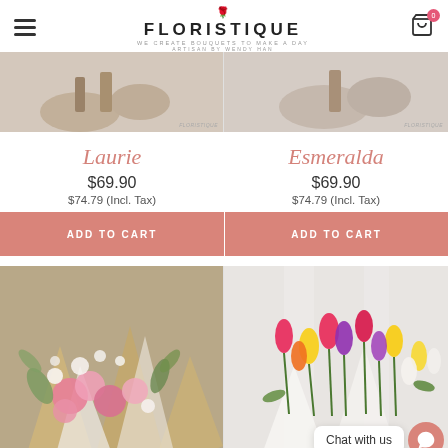FLORISTIQUE — WE CREATE BOUQUETS TO MAKE A DAY — ARTISAN BY WENDY HAN
[Figure (photo): Top portion of two product images of flower bouquets with FLORISTIQUE watermark]
Laurie
$69.90
$74.79 (Incl. Tax)
Esmeralda
$69.90
$74.79 (Incl. Tax)
ADD TO CART
ADD TO CART
[Figure (photo): Pink flower bouquet wrapped in kraft paper, arranged on a white chair]
[Figure (photo): Colorful tulip bouquet in yellow, pink, purple colors with Chat with us widget visible]